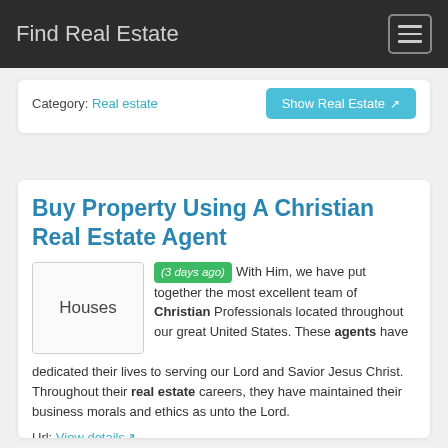Find Real Estate
Category: Real estate
Show Real Estate
Buy Property Using A Christian Real Estate Agent
(3 days ago) With Him, we have put together the most excellent team of Christian Professionals located throughout our great United States. These agents have dedicated their lives to serving our Lord and Savior Jesus Christ. Throughout their real estate careers, they have maintained their business morals and ethics as unto the Lord.
Url: View details
Category: Real estate
Show Real Estate